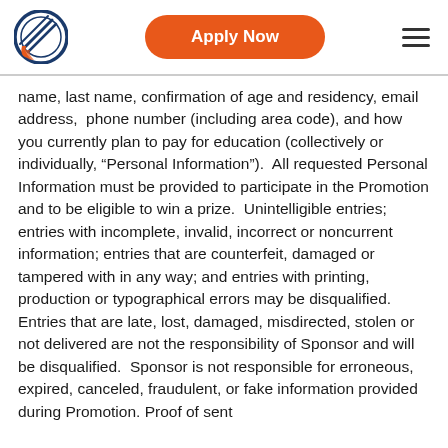[Figure (logo): Circular logo with diagonal lines in blue and orange]
[Figure (other): Orange rounded rectangle button with white bold text 'Apply Now']
[Figure (other): Hamburger menu icon — three horizontal dark lines]
name, last name, confirmation of age and residency, email address,  phone number (including area code), and how you currently plan to pay for education (collectively or individually, “Personal Information”).  All requested Personal Information must be provided to participate in the Promotion and to be eligible to win a prize.  Unintelligible entries; entries with incomplete, invalid, incorrect or noncurrent information; entries that are counterfeit, damaged or tampered with in any way; and entries with printing, production or typographical errors may be disqualified.  Entries that are late, lost, damaged, misdirected, stolen or not delivered are not the responsibility of Sponsor and will be disqualified.  Sponsor is not responsible for erroneous, expired, canceled, fraudulent, or fake information provided during Promotion. Proof of sent